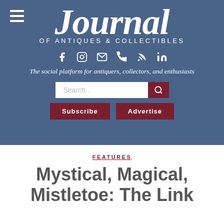Journal of Antiques & Collectibles
The social platform for antiquers, collectors, and enthusiasts
FEATURES
Mystical, Magical, Mistletoe: The Link